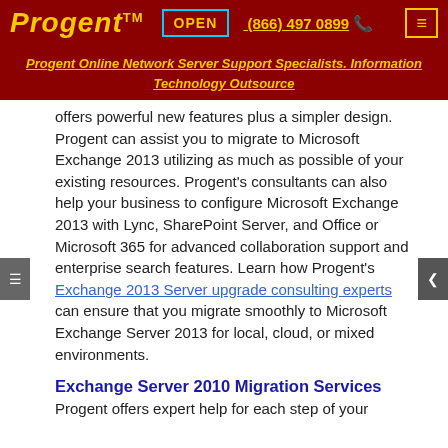Progent™  OPEN  (866) 497 0899  ☎
Progent Online Network Server Support Specialists. Information Technology Outsource
offers powerful new features plus a simpler design. Progent can assist you to migrate to Microsoft Exchange 2013 utilizing as much as possible of your existing resources. Progent's consultants can also help your business to configure Microsoft Exchange 2013 with Lync, SharePoint Server, and Office or Microsoft 365 for advanced collaboration support and enterprise search features. Learn how Progent's Exchange 2013 Server upgrade consulting experts can ensure that you migrate smoothly to Microsoft Exchange Server 2013 for local, cloud, or mixed environments.
Exchange Server 2010 Migration Services
Progent offers expert help for each step of your